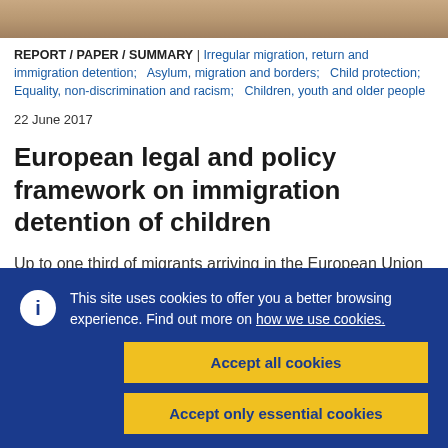[Figure (photo): Photo strip at top of page showing what appears to be a partial image of a person]
REPORT / PAPER / SUMMARY | Irregular migration, return and immigration detention;   Asylum, migration and borders;   Child protection;   Equality, non-discrimination and racism;   Children, youth and older people
22 June 2017
European legal and policy framework on immigration detention of children
Up to one third of migrants arriving in the European Union
This site uses cookies to offer you a better browsing experience. Find out more on how we use cookies.
Accept all cookies
Accept only essential cookies